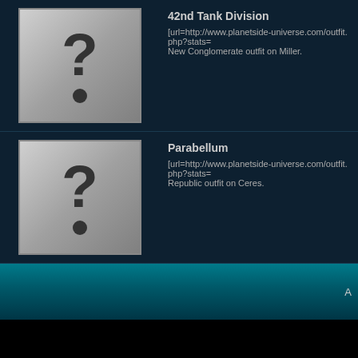42nd Tank Division — [url=http://www.planetside-universe.com/outfit.php?stats= New Conglomerate outfit on Miller.
Parabellum — [url=http://www.planetside-universe.com/outfit.php?stats= Republic outfit on Ceres.
A
All times are GMT -5. The time now is 03:37 PM. Content © 2002-2013, PlanetSide-Universe.com, All rights reserved. PlanetSide and the SOE logo are registered trademarks of Sony Online Entertainment Inc. © 2004 Sony Online Entertainment Inc. All rights reserved. All other trademarks or tradenames are properties of their respective owners. Powered by vBulletin Copyright ©2000 - 2022, Jelsoft Enterprises Ltd.